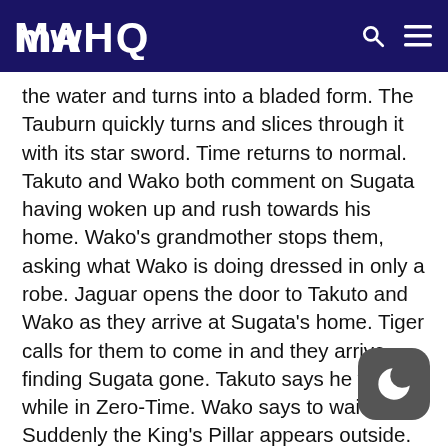MAHQ
the water and turns into a bladed form. The Tauburn quickly turns and slices through it with its star sword. Time returns to normal. Takuto and Wako both comment on Sugata having woken up and rush towards his home. Wako's grandmother stops them, asking what Wako is doing dressed in only a robe. Jaguar opens the door to Takuto and Wako as they arrive at Sugata's home. Tiger calls for them to come in and they arrive, finding Sugata gone. Takuto says he woke while in Zero-Time. Wako says to wait. Suddenly the King's Pillar appears outside. Sakana continues telling her story to Reiji, saying that the King offered Sam his crown and that his intent all along was to relinquish it to the one brought him the blue blood. Sam refused his offer, saying all he wanted was his galactic ship so he